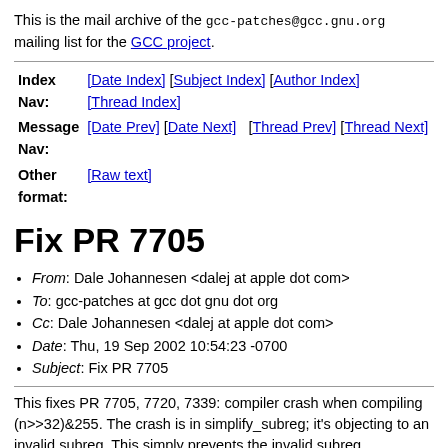This is the mail archive of the gcc-patches@gcc.gnu.org mailing list for the GCC project.
| Index Nav: | [Date Index] [Subject Index] [Author Index] [Thread Index] |
| Message Nav: | [Date Prev] [Date Next]  [Thread Prev] [Thread Next] |
| Other format: | [Raw text] |
Fix PR 7705
From: Dale Johannesen <dalej at apple dot com>
To: gcc-patches at gcc dot gnu dot org
Cc: Dale Johannesen <dalej at apple dot com>
Date: Thu, 19 Sep 2002 10:54:23 -0700
Subject: Fix PR 7705
This fixes PR 7705, 7720, 7339: compiler crash when compiling (n>>32)&255. The crash is in simplify_subreg; it's objecting to an invalid subreg. This simply prevents the invalid subreg